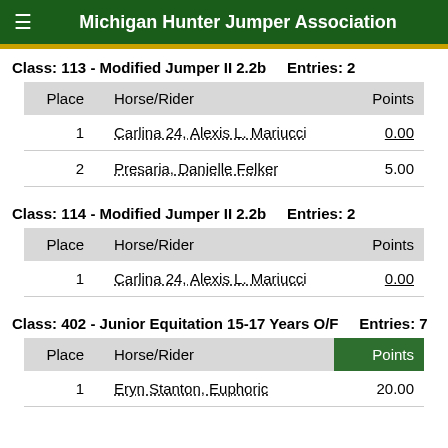Michigan Hunter Jumper Association
Class: 113 - Modified Jumper II 2.2b    Entries: 2
| Place | Horse/Rider | Points |
| --- | --- | --- |
| 1 | Carlina 24, Alexis L. Mariucci | 0.00 |
| 2 | Presaria, Danielle Felker | 5.00 |
Class: 114 - Modified Jumper II 2.2b    Entries: 2
| Place | Horse/Rider | Points |
| --- | --- | --- |
| 1 | Carlina 24, Alexis L. Mariucci | 0.00 |
Class: 402 - Junior Equitation 15-17 Years O/F    Entries: 7
| Place | Horse/Rider | Points |
| --- | --- | --- |
| 1 | Eryn Stanton, Euphoric | 20.00 |